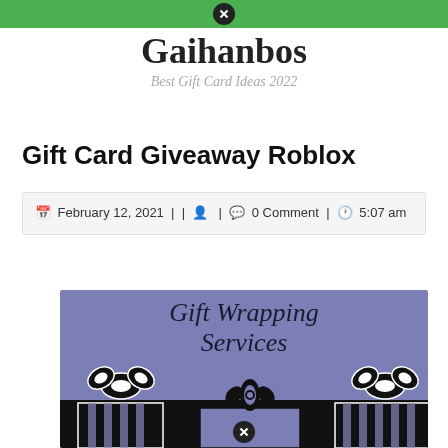Gaihanbos — Best Gift Card Ideas 2022
Gaihanbos
Best Gift Card Ideas 2022
Gift Card Giveaway Roblox
February 12, 2021 | | | 0 Comment | 5:07 am
[Figure (illustration): Gift Wrapping Services promotional image showing three black and white gift boxes with bows on a purple/lavender background, with the text 'Gift Wrapping Services' in italic script at the top.]